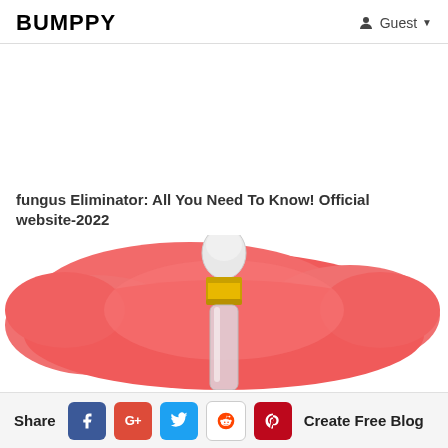BUMPPY | Guest
fungus Eliminator: All You Need To Know! Official website-2022
[Figure (photo): Product bottle with dropper on a red/pink painted background, showing the top portion of a clear glass dropper bottle with gold collar and white rubber bulb]
Share | Facebook | Google+ | Twitter | Reddit | Pinterest | Create Free Blog